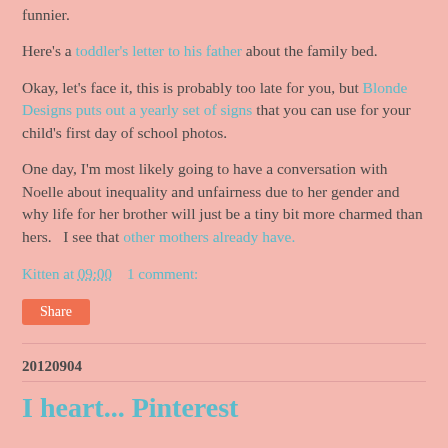funnier.
Here's a toddler's letter to his father about the family bed.
Okay, let's face it, this is probably too late for you, but Blonde Designs puts out a yearly set of signs that you can use for your child's first day of school photos.
One day, I'm most likely going to have a conversation with Noelle about inequality and unfairness due to her gender and why life for her brother will just be a tiny bit more charmed than hers.   I see that other mothers already have.
Kitten at 09:00    1 comment:
Share
20120904
I heart... Pinterest